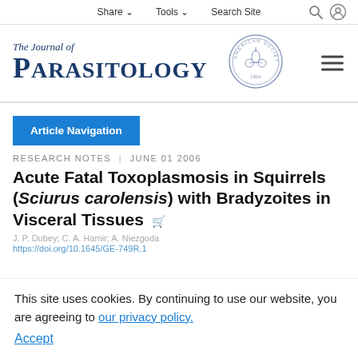Share  Tools  Search Site
[Figure (logo): The Journal of Parasitology logo with American Society of Parasitologists seal]
Article Navigation
RESEARCH NOTES | JUNE 01 2006
Acute Fatal Toxoplasmosis in Squirrels (Sciurus carolensis) with Bradyzoites in Visceral Tissues
J. P. Dubey; C. A. Hamir; A. Niezgoda
https://doi.org/10.1645/GE-749R.1
This site uses cookies. By continuing to use our website, you are agreeing to our privacy policy.
Accept